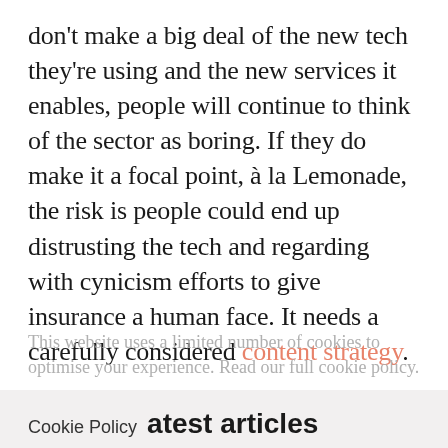don't make a big deal of the new tech they're using and the new services it enables, people will continue to think of the sector as boring. If they do make it a focal point, à la Lemonade, the risk is people could end up distrusting the tech and regarding with cynicism efforts to give insurance a human face. It needs a carefully considered content strategy.
This website uses a limited number of cookies to optimise your experience. Read our full cookie policy.
Cookie Policy  Latest articles